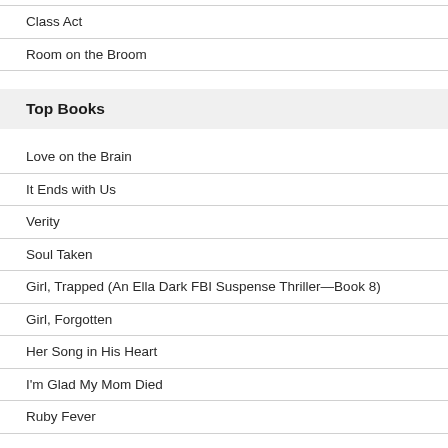Class Act
Room on the Broom
Top Books
Love on the Brain
It Ends with Us
Verity
Soul Taken
Girl, Trapped (An Ella Dark FBI Suspense Thriller—Book 8)
Girl, Forgotten
Her Song in His Heart
I'm Glad My Mom Died
Ruby Fever